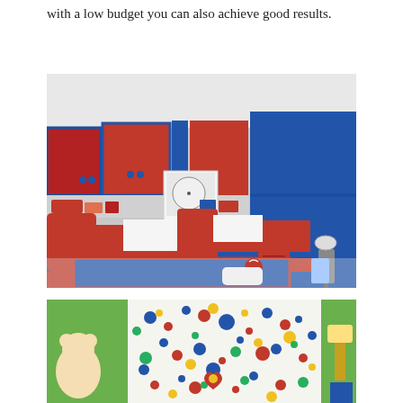with a low budget you can also achieve good results.
[Figure (photo): Children's bedroom with red and blue furniture including two single beds, large wardrobe units covering the walls, shelving with toys and books, and a blue rug on the floor.]
[Figure (photo): Children's room with colorful polka dot wallpaper featuring blue, red, yellow, and green dots, a red heart decoration, green painted walls, white teddy bear, and a wall-mounted lamp.]